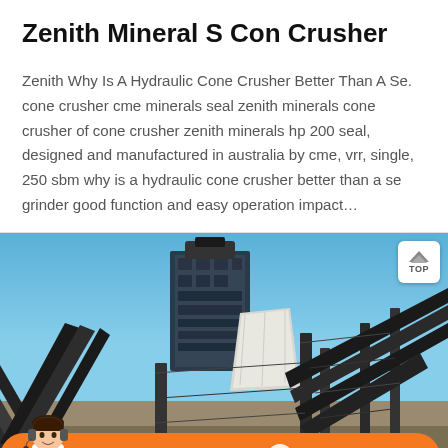Zenith Mineral S Con Crusher
Zenith Why Is A Hydraulic Cone Crusher Better Than A Se. cone crusher cme minerals seal zenith minerals cone crusher of cone crusher zenith minerals hp 200 seal, designed and manufactured in australia by cme, vrr, single, 250 sbm why is a hydraulic cone crusher better than a se grinder good function and easy operation impact…
[Figure (photo): Industrial cone crusher machinery at a mining/quarrying facility with conveyor belts and structural steel framework against a blue sky background]